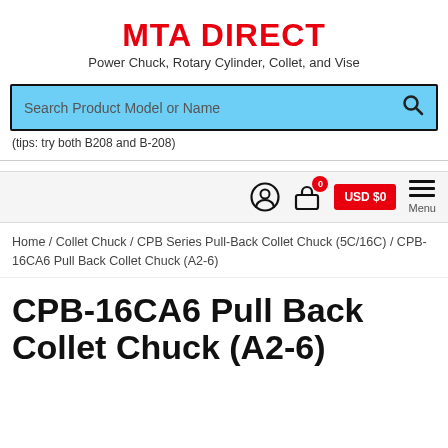MTA DIRECT
Power Chuck, Rotary Cylinder, Collet, and Vise
Search Product Model or Name
(tips: try both B208 and B-208)
0 USD $0 Menu
Home / Collet Chuck / CPB Series Pull-Back Collet Chuck (5C/16C) / CPB-16CA6 Pull Back Collet Chuck (A2-6)
CPB-16CA6 Pull Back Collet Chuck (A2-6)